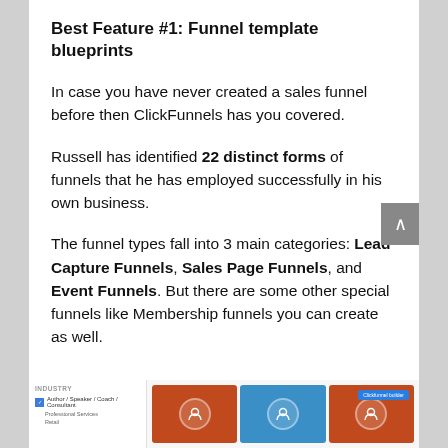Best Feature #1: Funnel template blueprints
In case you have never created a sales funnel before then ClickFunnels has you covered.
Russell has identified 22 distinct forms of funnels that he has employed successfully in his own business.
The funnel types fall into 3 main categories: Lead Capture Funnels, Sales Page Funnels, and Event Funnels. But there are some other special funnels like Membership funnels you can create as well.
[Figure (screenshot): Screenshot of ClickFunnels funnel template builder showing an industry selector sidebar with Author/Speaker/Coach/Consultant checked, and a grid of funnel template cards with red/orange thumbnail images and icons.]